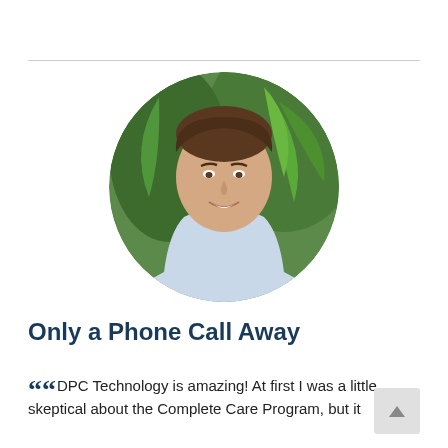[Figure (photo): Circular cropped headshot of a middle-aged man with brown hair, smiling, wearing a light blue shirt, with green tropical foliage in the background.]
Only a Phone Call Away
“”DPC Technology is amazing! At first I was a little skeptical about the Complete Care Program, but it